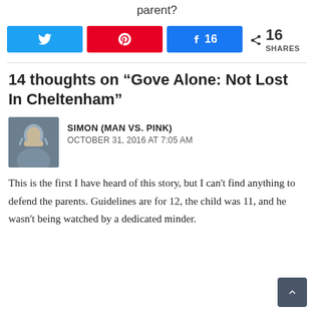parent?
[Figure (infographic): Social share buttons: Twitter, Pinterest, Facebook (16 shares), and a share icon showing 16 SHARES total]
14 thoughts on “Gove Alone: Not Lost In Cheltenham”
[Figure (photo): Avatar photo of Simon (Man vs. Pink), a man shown from front]
SIMON (MAN VS. PINK)
OCTOBER 31, 2016 AT 7:05 AM
This is the first I have heard of this story, but I can't find anything to defend the parents. Guidelines are for 12, the child was 11, and he wasn't being watched by a dedicated minder.